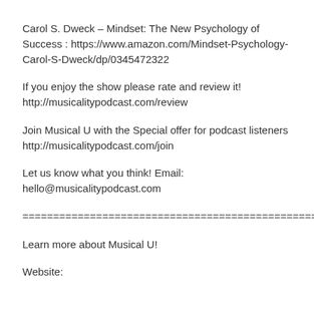Carol S. Dweck – Mindset: The New Psychology of Success : https://www.amazon.com/Mindset-Psychology-Carol-S-Dweck/dp/0345472322
If you enjoy the show please rate and review it! http://musicalitypodcast.com/review
Join Musical U with the Special offer for podcast listeners http://musicalitypodcast.com/join
Let us know what you think! Email: hello@musicalitypodcast.com
================================================
Learn more about Musical U!
Website: